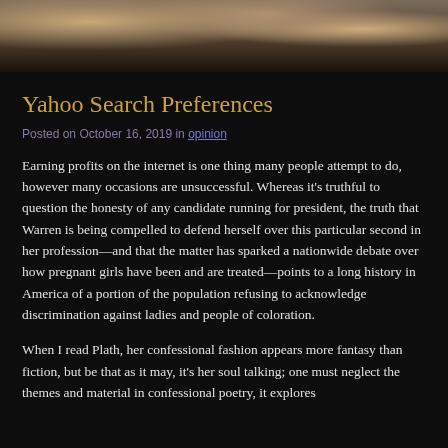[Figure (photo): Cropped photo showing legs and feet of a person crouching, with a woven bag visible, on an outdoor surface. Dark-toned image.]
Yahoo Search Preferences
Posted on October 16, 2019 in opinion
Earning profits on the internet is one thing many people attempt to do, however many occasions are unsuccessful. Whereas it’s truthful to question the honesty of any candidate running for president, the truth that Warren is being compelled to defend herself over this particular second in her profession—and that the matter has sparked a nationwide debate over how pregnant girls have been and are treated—points to a long history in America of a portion of the population refusing to acknowledge discrimination against ladies and people of coloration.
When I read Plath, her confessional fashion appears more fantasy than fiction, but be that as it may, it’s her soul talking; one must neglect the themes and material in confessional poetry, it explores